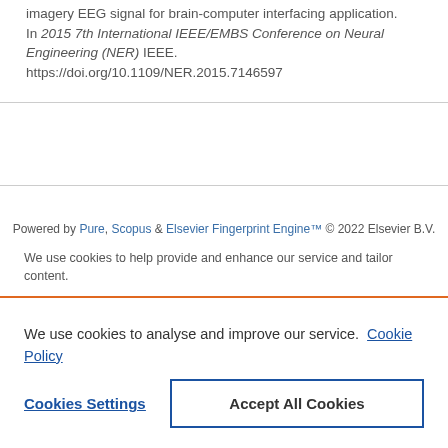imagery EEG signal for brain-computer interfacing application. In 2015 7th International IEEE/EMBS Conference on Neural Engineering (NER) IEEE. https://doi.org/10.1109/NER.2015.7146597
Powered by Pure, Scopus & Elsevier Fingerprint Engine™ © 2022 Elsevier B.V.
We use cookies to help provide and enhance our service and tailor content.
We use cookies to analyse and improve our service. Cookie Policy
Cookies Settings
Accept All Cookies